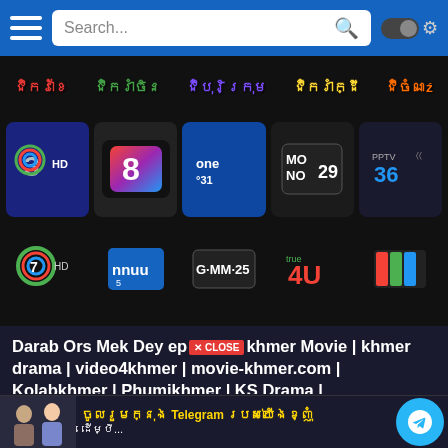Search...
[Figure (screenshot): Khmer category navigation strip with 5 colored Khmer text labels]
[Figure (screenshot): Grid of Thai TV channel logos: Channel 3 HD, Channel 8, One 31, Mono 29, PPTV 36, Channel 7 HD, MCOT, GMM 25, True 4U, and one more]
Darab Ors Mek Dey ep× CLOSE khmer Movie | khmer drama | video4khmer | movie-khmer.com | Kolabkhmer | Phumikhmer | KS Drama | khmercitylove | sweetdrama | khreplay Best
Released on November 9, 2021 · 5 Views · Posted by admin · Series Darab Ors Mek Dey | Khmer Movie | khmer drama | video4khmer | movie-khmer.com | Kolabkhmer | Phumikhmer | KS Drama | khmercitylove | sweetdrama | khreplay Best
[Figure (infographic): Telegram promotional banner in Khmer with people and Telegram bird icon]